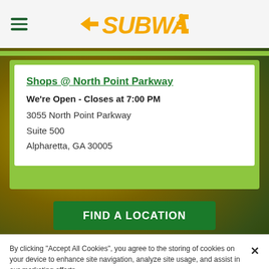SUBWAY (logo with hamburger menu icon)
Shops @ North Point Parkway
We're Open - Closes at 7:00 PM
3055 North Point Parkway
Suite 500
Alpharetta, GA 30005
FIND A LOCATION
By clicking “Accept All Cookies”, you agree to the storing of cookies on your device to enhance site navigation, analyze site usage, and assist in our marketing efforts.
Cookies Settings
Accept All Cookies